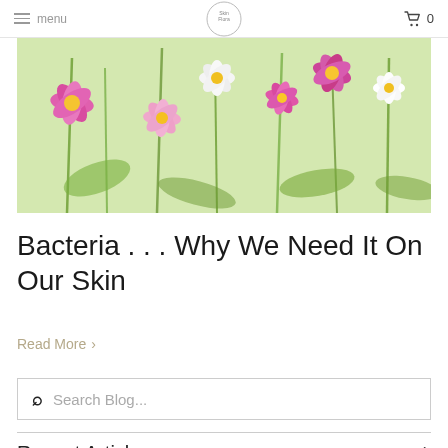menu | [logo] | 0
[Figure (photo): Field of pink, white and magenta cosmos flowers with green stems and foliage in soft natural light]
Bacteria . . . Why We Need It On Our Skin
Read More >
Search Blog...
Recent Articles +